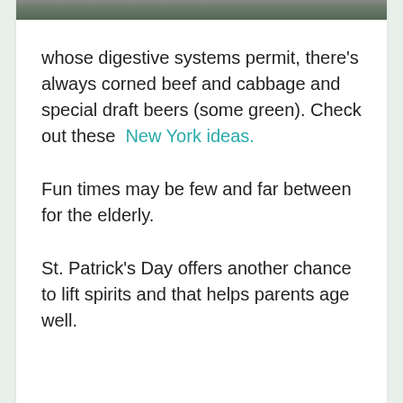[Figure (photo): Cropped photo strip at top of page, partially visible image with dark green and brown tones]
whose digestive systems permit, there's always corned beef and cabbage and special draft beers (some green). Check out these New York ideas.
Fun times may be few and far between for the elderly.
St. Patrick's Day offers another chance to lift spirits and that helps parents age well.